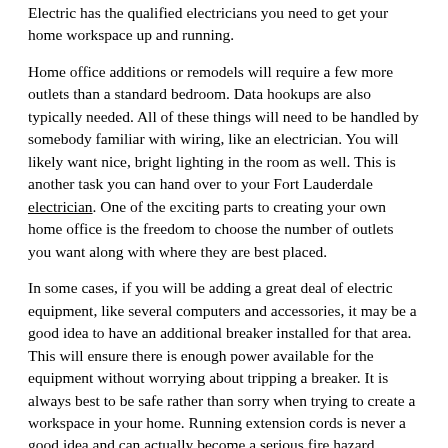Electric has the qualified electricians you need to get your home workspace up and running.
Home office additions or remodels will require a few more outlets than a standard bedroom. Data hookups are also typically needed. All of these things will need to be handled by somebody familiar with wiring, like an electrician. You will likely want nice, bright lighting in the room as well. This is another task you can hand over to your Fort Lauderdale electrician. One of the exciting parts to creating your own home office is the freedom to choose the number of outlets you want along with where they are best placed.
In some cases, if you will be adding a great deal of electric equipment, like several computers and accessories, it may be a good idea to have an additional breaker installed for that area. This will ensure there is enough power available for the equipment without worrying about tripping a breaker. It is always best to be safe rather than sorry when trying to create a workspace in your home. Running extension cords is never a good idea and can actually become a serious fire hazard. Invest in making your workspace functional and comfortable and you will be able to make your goal of working from home work. If you are ready to begin your journey as work from home employee, give Elcon Electric a call today.